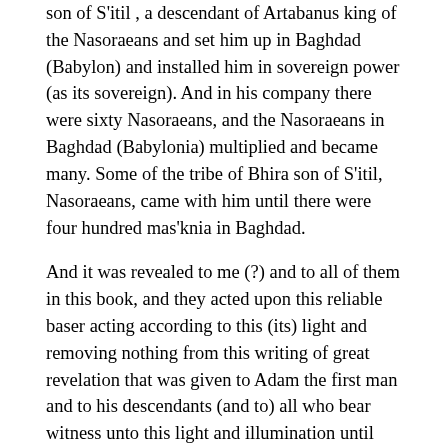son of S'itil , a descendant of Artabanus king of the Nasoraeans and set him up in Baghdad (Babylon) and installed him in sovereign power (as its sovereign). And in his company there were sixty Nasoraeans, and the Nasoraeans in Baghdad (Babylonia) multiplied and became many. Some of the tribe of Bhira son of S'itil, Nasoraeans, came with him until there were four hundred mas'knia in Baghdad.
And it was revealed to me (?) and to all of them in this book, and they acted upon this reliable baser acting according to this (its) light and removing nothing from this writing of great revelation that was given to Adam the first man and to his descendants (and to) all who bear witness unto this light and illumination until worlds' end. Nought shall pass away from the Word of the great Father of Glory, praised be his name! Then the said Zazai, one of the righteous elect , rose to the firmament and abode with Yurbas sixty-two days, and ascended to his fathers; but those (other) six chosen righteous ones sent forth their descendants into the world. And in the earthly world there are some of the children (descendants) of disciples whom Yahia- Yuhana taught, and amongst the Nasoraeans some from the first planting of kings from the beginning, middle and end; (yea) there are some amongst the Nasoraeans at the latter end of the age, for they go forth that ye may